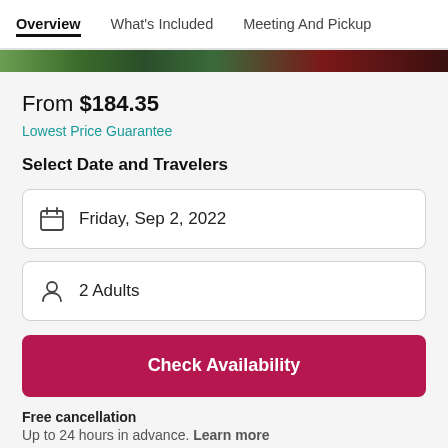Overview | What's Included | Meeting And Pickup
[Figure (photo): Partial colorful image strip showing greenery and red tones]
From $184.35
Lowest Price Guarantee
Select Date and Travelers
Friday, Sep 2, 2022
2 Adults
Check Availability
Free cancellation
Up to 24 hours in advance. Learn more